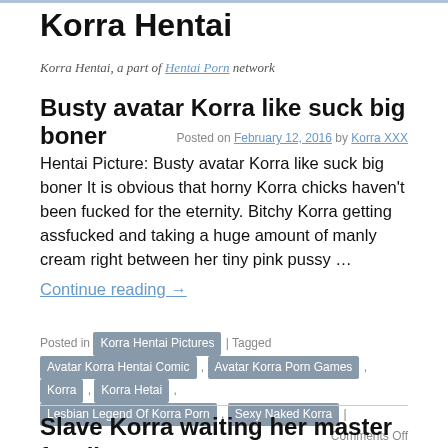Korra Hentai
Korra Hentai, a part of Hentai Porn network
Busty avatar Korra like suck big boner
Posted on February 12, 2016 by Korra XXX
Hentai Picture: Busty avatar Korra like suck big boner It is obvious that horny Korra chicks haven't been fucked for the eternity. Bitchy Korra getting assfucked and taking a huge amount of manly cream right between her tiny pink pussy …
Continue reading →
Posted in Korra Hentai Pictures | Tagged Avatar Korra Hentai Comic , Avatar Korra Porn Games , Korra , Korra Hetai , Lesbian Legend Of Korra Porn , Sexy Naked Korra | Comments Off
Slave Korra waiting her master for dirty sex
Posted on February 9, 2016 by Korra XXX
Hentai Picture: Slave Korra waiting her master for dirty sex Korra gets her pussy ravaged by a thick black shaft, gives …